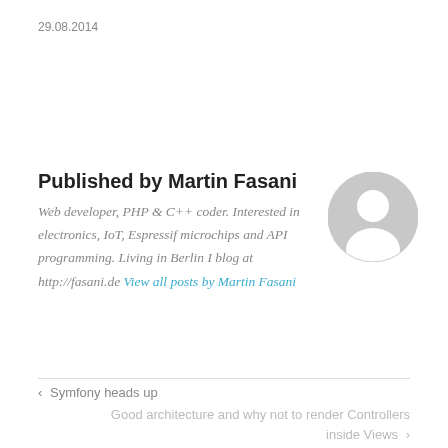29.08.2014
Published by Martin Fasani
Web developer, PHP & C++ coder. Interested in electronics, IoT, Espressif microchips and API programming. Living in Berlin I blog at http://fasani.de View all posts by Martin Fasani
[Figure (illustration): Grey circular avatar/profile placeholder icon]
‹  Symfony heads up
Good architecture and why not to render Controllers inside Views  ›